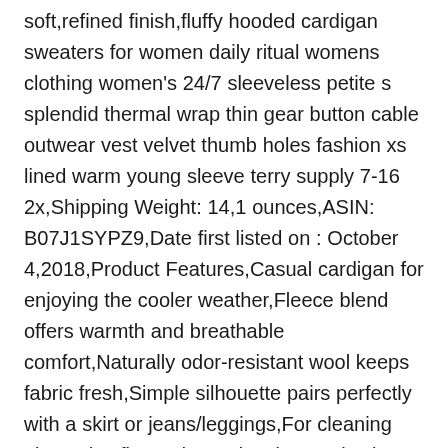soft,refined finish,fluffy hooded cardigan sweaters for women daily ritual womens clothing women's 24/7 sleeveless petite s splendid thermal wrap thin gear button cable outwear vest velvet thumb holes fashion xs lined warm young sleeve terry supply 7-16 2x,Shipping Weight: 14,1 ounces,ASIN: B07J1SYPZ9,Date first listed on : October 4,2018,Product Features,Casual cardigan for enjoying the cooler weather,Fleece blend offers warmth and breathable comfort,Naturally odor-resistant wool keeps fabric fresh,Simple silhouette pairs perfectly with a skirt or jeans/leggings,For cleaning please lay flat to dry or dry clean only,Fit & Sizing,Hits below the hip,Straight silhouette with a relaxed fit,Product Details,Patch pockets at hips,Dropped shoulders,Long sleeves with ribbed cuffs,Soft,cozy acrylic knit,Open